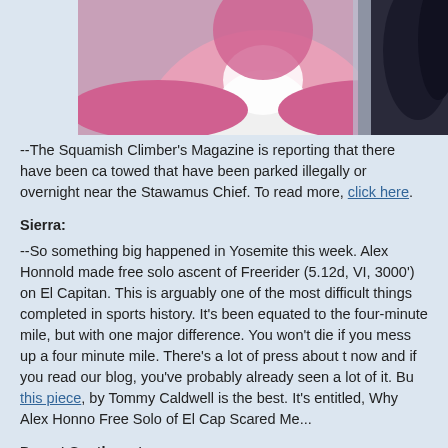[Figure (illustration): Partial view of an anime-style illustration showing two characters, one with pink hair/hat and one with dark hair, cropped at the top of the page.]
--The Squamish Climber's Magazine is reporting that there have been cars towed that have been parked illegally or overnight near the Stawamus Chief. To read more, click here.
Sierra:
--So something big happened in Yosemite this week. Alex Honnold made a free solo ascent of Freerider (5.12d, VI, 3000') on El Capitan. This is arguably one of the most difficult things completed in sports history. It's been equated to the four-minute mile, but with one major difference. You won't die if you mess up a four minute mile. There's a lot of press about this now and if you read our blog, you've probably already seen a lot of it. But this piece, by Tommy Caldwell is the best. It's entitled, Why Alex Honnold's Free Solo of El Cap Scared Me...
Desert Southwest:
--Nevada Governor Brian Sandoval has vetoed a bill that would have given Red Rock Canyon more protection from development. There is now a movement to try to get the veto overridden. To add your name to the override, please click here.
Colorado:
--The Denver Post is reporting that, "A 20-person search and rescue tea